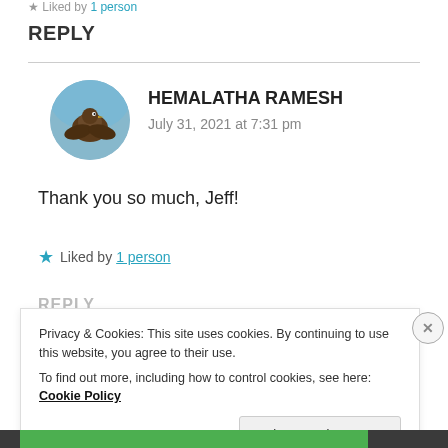Liked by 1 person
REPLY
[Figure (photo): Circular avatar photo of Hemalatha Ramesh showing a bird against blue sky]
HEMALATHA RAMESH
July 31, 2021 at 7:31 pm
Thank you so much, Jeff!
Liked by 1 person
REPLY
Privacy & Cookies: This site uses cookies. By continuing to use this website, you agree to their use.
To find out more, including how to control cookies, see here: Cookie Policy
Close and accept